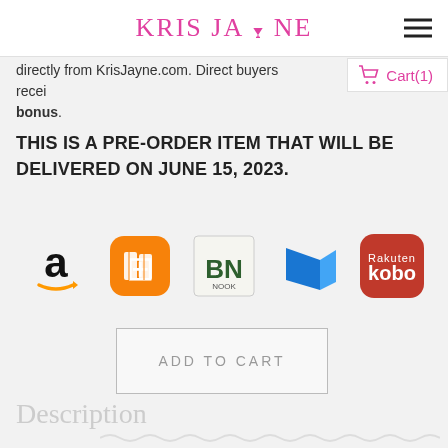KRIS JAYNE
directly from KrisJayne.com. Direct buyers recei… bonus.
Cart(1)
THIS IS A PRE-ORDER ITEM THAT WILL BE DELIVERED ON JUNE 15, 2023.
[Figure (logo): Amazon logo]
[Figure (logo): Apple Books logo (orange book icon)]
[Figure (logo): Barnes & Noble (BN) logo]
[Figure (logo): Microsoft / Bookshelf blue logo]
[Figure (logo): Rakuten Kobo logo (red rounded square)]
ADD TO CART
Description